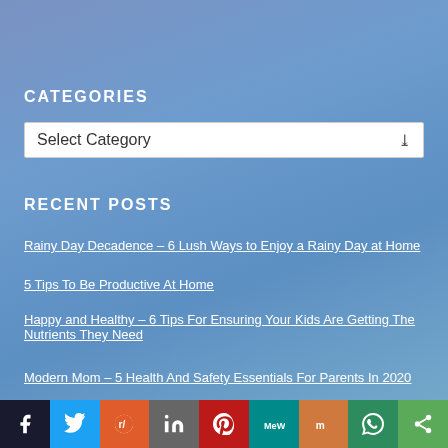CATEGORIES
Select Category
RECENT POSTS
Rainy Day Decadence – 6 Lush Ways to Enjoy a Rainy Day at Home
5 Tips To Be Productive At Home
Happy and Healthy – 6 Tips For Ensuring Your Kids Are Getting The Nutrients They Need
Modern Mom – 5 Health And Safety Essentials For Parents In 2020
[Figure (infographic): Social media share buttons bar at the bottom: Facebook, Twitter, Reddit, LinkedIn, Pinterest, MeWe, Mix, WhatsApp, Share]